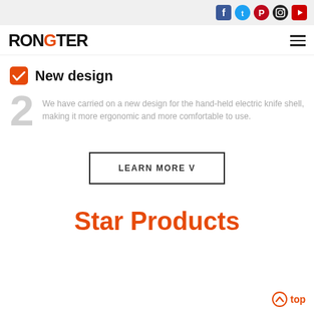[Figure (screenshot): Top social media icon bar with Facebook, Twitter, Pinterest, Instagram, YouTube icons]
[Figure (logo): RONGTER logo in bold black uppercase letters with orange accent on the G, hamburger menu icon on right]
New design
We have carried on a new design for the hand-held electric knife shell, making it more ergonomic and more comfortable to use.
LEARN MORE v
Star Products
top